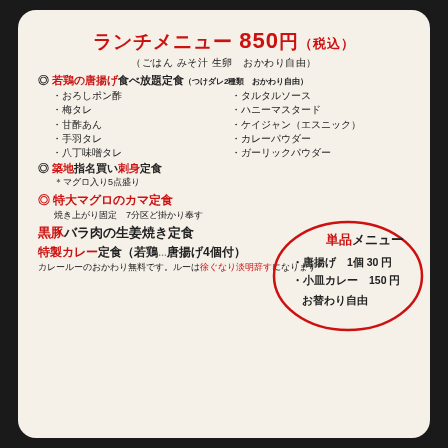ランチメニュー 850円（税込）
（ごはん みそ汁 生卵　おかわり自由）
◎ 若鶏の唐揚げ食べ放題定食（つけダレ2種類　おかわり自由）
・おろしポン酢
・梅タレ
・甘酢あん
・手羽タレ
・八丁味噌タレ
・タルタルソース
・ハニーマスタード
・ケイジャン（エスニック）
・カレーパウダー
・ガーリックパウダー
◎ 築地指名買い刺身定食
＊マグロ入り5点盛り
◎ 特大マグロのカマ定食
焼き上がり固定　7分区ど掛かり奉す
黒豚バラ肉の生姜焼き定食
特製カレー定食（若鶏...唐揚げ4個付）
カレールーのおかわり無料です。ルーは徐ぐなり淡明辞すになります
[Figure (other): Red circle callout box with 単品メニュー header and items: 唐揚げ 1個30円, 小皿カレー 150円, お替わり自由]